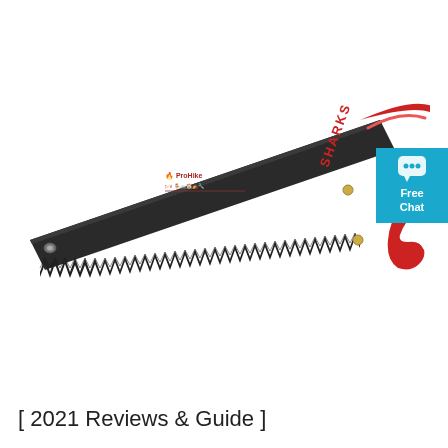[Figure (photo): A handsaw with a dark/charcoal colored blade and a red plastic handle with 'SHARKS' branding. The blade has fine teeth along the bottom edge. The saw is shown diagonally, pointing from lower-right to upper-left. There is a brand logo and usage icons printed on the blade.]
[Figure (infographic): A teal/cyan blue square badge in the top-right corner with a speech bubble chat icon and the text 'Free Chat' in white bold font.]
[ 2021 Reviews & Guide ]